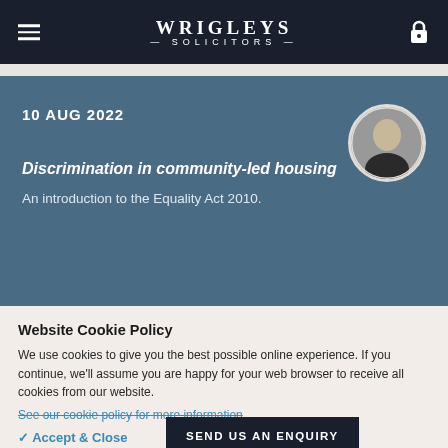WRIGLEYS SOLICITORS
10 AUG 2022
Discrimination in community-led housing
An introduction to the Equality Act 2010.
Website Cookie Policy
We use cookies to give you the best possible online experience. If you continue, we'll assume you are happy for your web browser to receive all cookies from our website.
See our cookie policy for more information
✓ Accept & Close
SEND US AN ENQUIRY